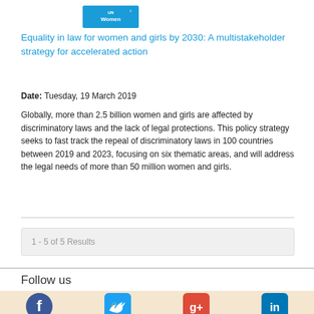[Figure (logo): UN Women logo - blue rectangle with white text]
Equality in law for women and girls by 2030: A multistakeholder strategy for accelerated action
Date: Tuesday, 19 March 2019
Globally, more than 2.5 billion women and girls are affected by discriminatory laws and the lack of legal protections. This policy strategy seeks to fast track the repeal of discriminatory laws in 100 countries between 2019 and 2023, focusing on six thematic areas, and will address the legal needs of more than 50 million women and girls.
1 - 5 of 5 Results
Follow us
[Figure (illustration): Social media icons: Facebook, Twitter, Google+, LinkedIn on a tan/beige background]